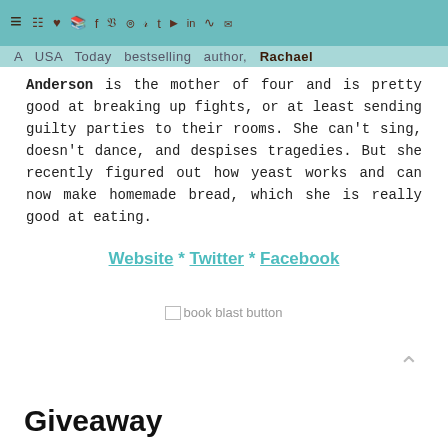≡ 🛒 ♥ 📖 f 𝕏 📷 𝗽 𝗧 ▶ in ⊐ ✉
A USA Today bestselling author, Rachael Anderson is the mother of four and is pretty good at breaking up fights, or at least sending guilty parties to their rooms. She can't sing, doesn't dance, and despises tragedies. But she recently figured out how yeast works and can now make homemade bread, which she is really good at eating.
Website * Twitter * Facebook
[Figure (other): book blast button image placeholder]
Giveaway